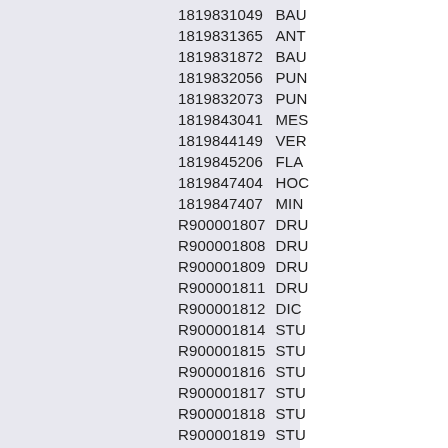| ID | Code |
| --- | --- |
| 1819831049 | BAU |
| 1819831365 | ANT |
| 1819831872 | BAU |
| 1819832056 | PUN |
| 1819832073 | PUN |
| 1819843041 | MES |
| 1819844149 | VER |
| 1819845206 | FLA |
| 1819847404 | HOC |
| 1819847407 | MIN |
| R900001807 | DRU |
| R900001808 | DRU |
| R900001809 | DRU |
| R900001811 | DRU |
| R900001812 | DIC |
| R900001814 | STU |
| R900001815 | STU |
| R900001816 | STU |
| R900001817 | STU |
| R900001818 | STU |
| R900001819 | STU |
| R900001821 | DRU |
| R900001823 | PAS |
| R900001829 | SPR |